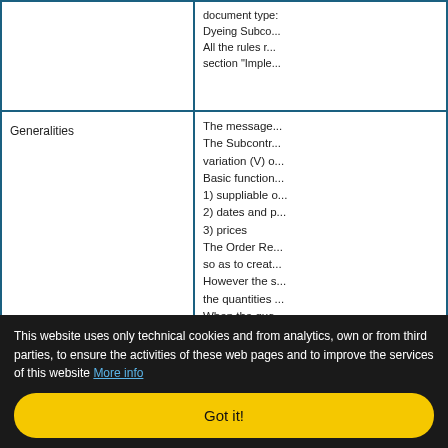|  |  |
| --- | --- |
|  | document type: Dyeing Subco... All the rules r... section "Imple... |
| Generalities | The message... The Subcontr... variation (V) o... Basic function... 1) suppliable o... 2) dates and p... 3) prices The Order Re... so as to creat... However the s... the quantities... When the qua... the 'act' flag. |
| Back compatibility | Updated |
| Document Code | G070 |
| Resources | [Guide] [Schema] |
This website uses only technical cookies and from analytics, own or from third parties, to ensure the activities of these web pages and to improve the services of this website More info